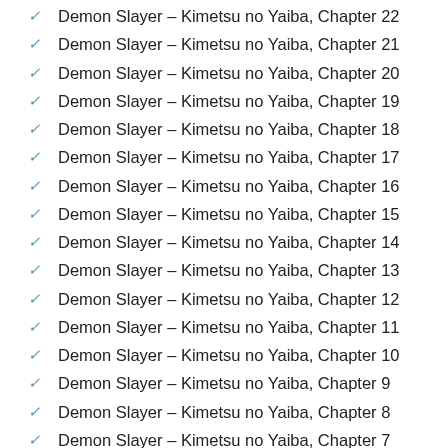Demon Slayer – Kimetsu no Yaiba, Chapter 22
Demon Slayer – Kimetsu no Yaiba, Chapter 21
Demon Slayer – Kimetsu no Yaiba, Chapter 20
Demon Slayer – Kimetsu no Yaiba, Chapter 19
Demon Slayer – Kimetsu no Yaiba, Chapter 18
Demon Slayer – Kimetsu no Yaiba, Chapter 17
Demon Slayer – Kimetsu no Yaiba, Chapter 16
Demon Slayer – Kimetsu no Yaiba, Chapter 15
Demon Slayer – Kimetsu no Yaiba, Chapter 14
Demon Slayer – Kimetsu no Yaiba, Chapter 13
Demon Slayer – Kimetsu no Yaiba, Chapter 12
Demon Slayer – Kimetsu no Yaiba, Chapter 11
Demon Slayer – Kimetsu no Yaiba, Chapter 10
Demon Slayer – Kimetsu no Yaiba, Chapter 9
Demon Slayer – Kimetsu no Yaiba, Chapter 8
Demon Slayer – Kimetsu no Yaiba, Chapter 7
Demon Slayer – Kimetsu no Yaiba, Chapter 6
Demon Slayer – Kimetsu no Yaiba, Chapter 5